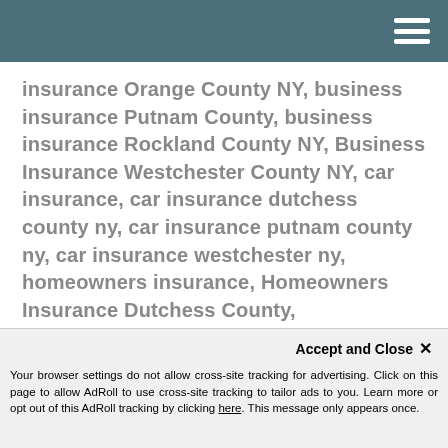[Navigation bar with hamburger menu]
insurance Orange County NY, business insurance Putnam County, business insurance Rockland County NY, Business Insurance Westchester County NY, car insurance, car insurance dutchess county ny, car insurance putnam county ny, car insurance westchester ny, homeowners insurance, Homeowners Insurance Dutchess County, homeowners insurance Dutchess County NY, homeowners insurance Orange County NY, homeowners insurance Putnam County NY, homeowners insurance Rockland County NY, homeowners insurance Westchester County NY, insurance coverage, insurance coverage Dutchess County, insurance coverage Putnam County, insurance coverage Westchester County on July 2, 2018.
Accept and Close ✕
Your browser settings do not allow cross-site tracking for advertising. Click on this page to allow AdRoll to use cross-site tracking to tailor ads to you. Learn more or opt out of this AdRoll tracking by clicking here. This message only appears once.